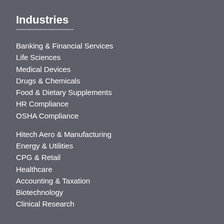Industries
Banking & Financial Services
Life Sciences
Medical Devices
Drugs & Chemicals
Food & Dietary Supplements
HR Compliance
OSHA Compliance
Hitech Aero & Manufacturing
Energy & Utilities
CPG & Retail
Healthcare
Accounting & Taxation
Biotechnology
Clinical Research
AI, ER & Procurement